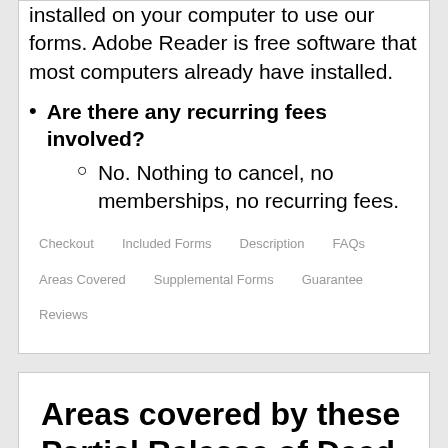installed on your computer to use our forms. Adobe Reader is free software that most computers already have installed.
Are there any recurring fees involved?
No. Nothing to cancel, no memberships, no recurring fees.
Checkout   Included Forms   Description   FAQs   Areas Covered   Supplemental Forms   Guarantee   Reviews
Areas covered by these Partial Release of Deed of Trust Forms: